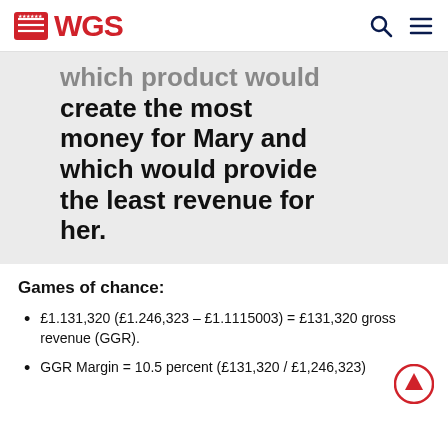WGS
which product would create the most money for Mary and which would provide the least revenue for her.
Games of chance:
£1.131,320 (£1.246,323 – £1.1115003) = £131,320 gross revenue (GGR).
GGR Margin = 10.5 percent (£131,320 / £1,246,323)